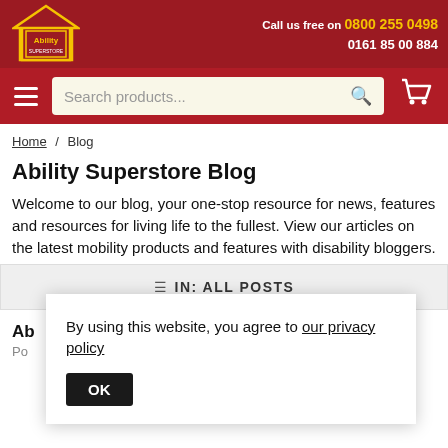Ability Superstore | Call us free on 0800 255 0498 | 0161 85 00 884
[Figure (screenshot): Ability Superstore logo with house icon and yellow border, red background]
[Figure (screenshot): Search bar with 'Search products...' placeholder and cart icon on red navigation bar]
Home / Blog
Ability Superstore Blog
Welcome to our blog, your one-stop resource for news, features and resources for living life to the fullest. View our articles on the latest mobility products and features with disability bloggers.
IN: ALL POSTS
By using this website, you agree to our privacy policy
OK